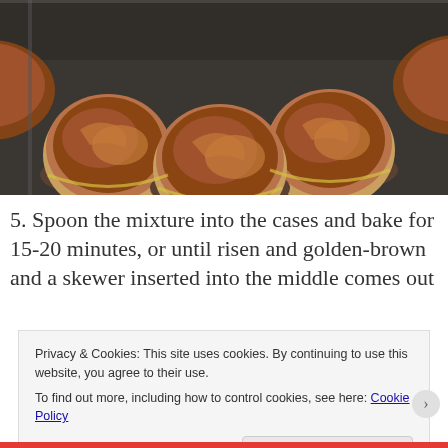[Figure (photo): Chocolate cupcake batter spooned into yellow paper cases in a dark muffin tin, viewed from above at an angle]
5. Spoon the mixture into the cases and bake for 15-20 minutes, or until risen and golden-brown and a skewer inserted into the middle comes out
Privacy & Cookies: This site uses cookies. By continuing to use this website, you agree to their use.
To find out more, including how to control cookies, see here: Cookie Policy
Close and accept